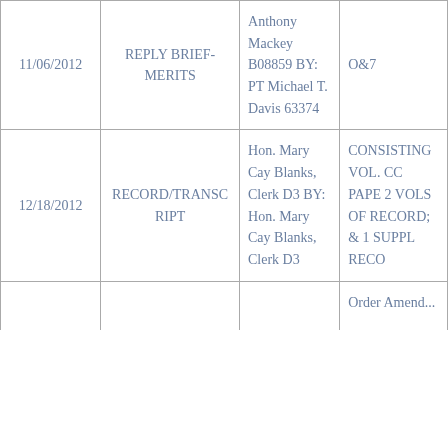| Date | Type | Party/By | Notes |
| --- | --- | --- | --- |
| 11/06/2012 | REPLY BRIEF-MERITS | Anthony Mackey B08859 BY: PT Michael T. Davis 63374 | O&7 |
| 12/18/2012 | RECORD/TRANSCRIPT | Hon. Mary Cay Blanks, Clerk D3 BY: Hon. Mary Cay Blanks, Clerk D3 | CONSISTING VOL. CC PAPE 2 VOLS OF RECORD; & 1 SUPPL RECO |
|  |  |  | Order Amend... |